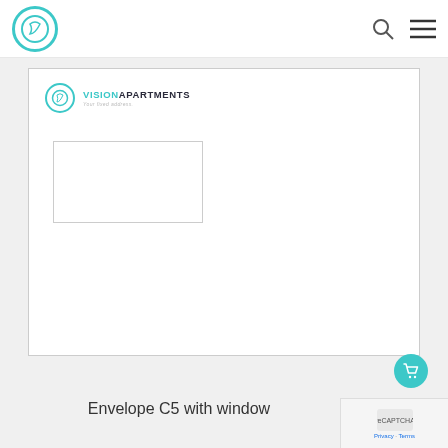VisionApartments
[Figure (illustration): Envelope C5 with window showing VisionApartments letterhead with teal logo circle containing a V, brand name VISIONAPARTMENTS, tagline 'Your fixed address.', and a rectangular address window on the left side of the envelope body.]
Envelope C5 with window